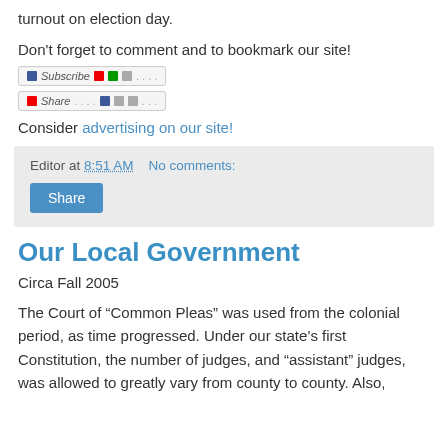turnout on election day.
Don't forget to comment and to bookmark our site!
[Figure (screenshot): Subscribe and share button bar icons]
Consider advertising on our site!
Editor at 8:51 AM   No comments:
Share
Our Local Government
Circa Fall 2005
The Court of “Common Pleas” was used from the colonial period, as time progressed. Under our state’s first Constitution, the number of judges, and “assistant” judges, was allowed to greatly vary from county to county. Also,